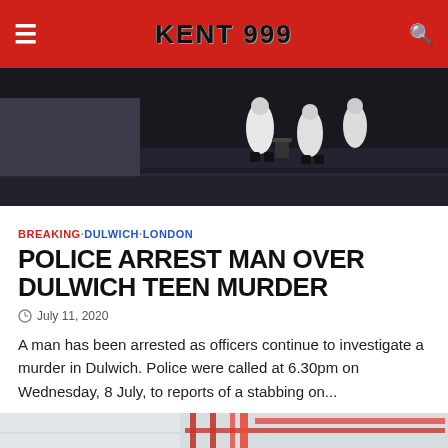KENT 999
[Figure (photo): Forensic officers in white hazmat suits at a night crime scene on a road]
BREAKING · DULWICH · LONDON
POLICE ARREST MAN OVER DULWICH TEEN MURDER
July 11, 2020
A man has been arrested as officers continue to investigate a murder in Dulwich. Police were called at 6.30pm on Wednesday, 8 July, to reports of a stabbing on...
[Figure (photo): Construction scaffolding scene with red crane equipment]